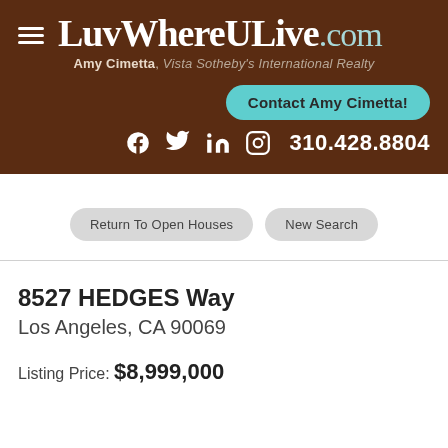[Figure (logo): LuvWhereULive.com logo with hamburger menu icon on brown background, with agent name Amy Cimetta, Vista Sotheby's International Realty, a teal Contact Amy Cimetta! button, social media icons (Facebook, Twitter, LinkedIn, Instagram), and phone number 310.428.8804]
Return To Open Houses
New Search
8527 HEDGES Way
Los Angeles, CA 90069
Listing Price: $8,999,000